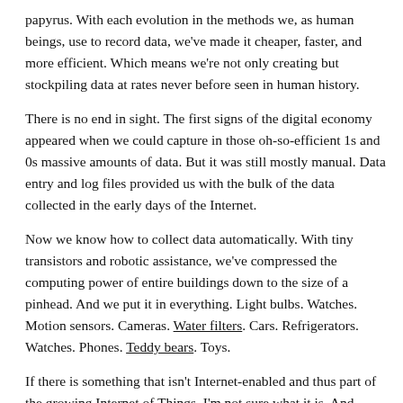papyrus. With each evolution in the methods we, as human beings, use to record data, we've made it cheaper, faster, and more efficient. Which means we're not only creating but stockpiling data at rates never before seen in human history.
There is no end in sight. The first signs of the digital economy appeared when we could capture in those oh-so-efficient 1s and 0s massive amounts of data. But it was still mostly manual. Data entry and log files provided us with the bulk of the data collected in the early days of the Internet.
Now we know how to collect data automatically. With tiny transistors and robotic assistance, we've compressed the computing power of entire buildings down to the size of a pinhead. And we put it in everything. Light bulbs. Watches. Motion sensors. Cameras. Water filters. Cars. Refrigerators. Watches. Phones. Teddy bears. Toys.
If there is something that isn't Internet-enabled and thus part of the growing Internet of Things, I'm not sure what it is. And